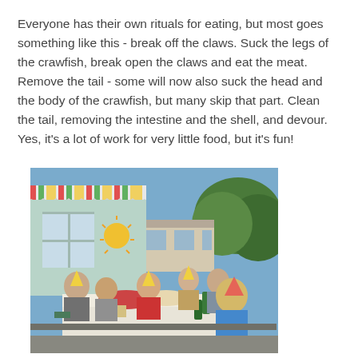Everyone has their own rituals for eating, but most goes something like this - break off the claws. Suck the legs of the crawfish, break open the claws and eat the meat. Remove the tail - some will now also suck the head and the body of the crawfish, but many skip that part. Clean the tail, removing the intestine and the shell, and devour. Yes, it's a lot of work for very little food, but it's fun!
[Figure (photo): Group of people wearing party hats sitting around an outdoor table with food and drinks, in front of a house with a striped awning and decorations.]